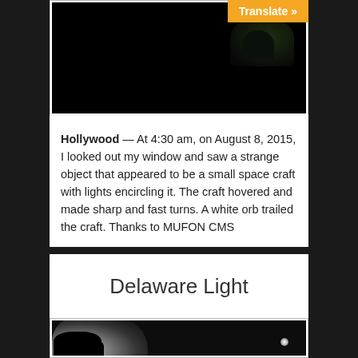[Figure (photo): Dark nighttime photo showing trees against a black sky, taken from inside at 4:30 am]
Hollywood — At 4:30 am, on August 8, 2015, I looked out my window and saw a strange object that appeared to be a small space craft with lights encircling it. The craft hovered and made sharp and fast turns. A white orb trailed the craft. Thanks to MUFON CMS
Delaware Light
[Figure (photo): Dark nighttime photo showing lightning or bright light glowing behind clouds and silhouetted trees, with a small light orb visible]